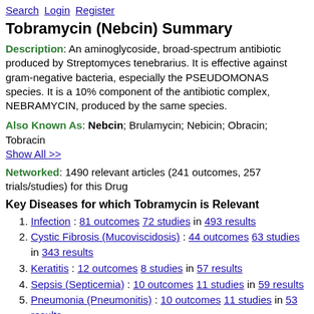Search Login Register
Tobramycin (Nebcin) Summary
Description: An aminoglycoside, broad-spectrum antibiotic produced by Streptomyces tenebrarius. It is effective against gram-negative bacteria, especially the PSEUDOMONAS species. It is a 10% component of the antibiotic complex, NEBRAMYCIN, produced by the same species.
Also Known As: Nebcin; Brulamycin; Nebicin; Obracin; Tobracin
Show All >>
Networked: 1490 relevant articles (241 outcomes, 257 trials/studies) for this Drug
Key Diseases for which Tobramycin is Relevant
Infection : 81 outcomes 72 studies in 493 results
Cystic Fibrosis (Mucoviscidosis) : 44 outcomes 63 studies in 343 results
Keratitis : 12 outcomes 8 studies in 57 results
Sepsis (Septicemia) : 10 outcomes 11 studies in 59 results
Pneumonia (Pneumonitis) : 10 outcomes 11 studies in 53 results